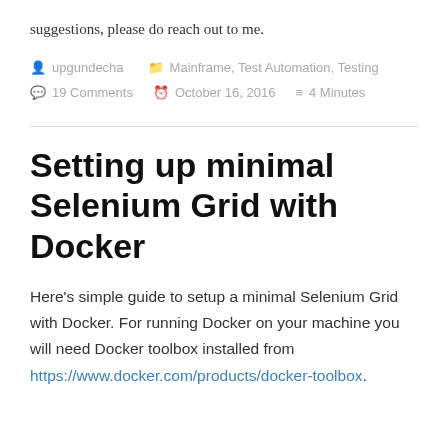suggestions, please do reach out to me.
upgundecha   Mainframe, Test Automation, Testing   19 Comments   October 16, 2016   4 Minutes
Setting up minimal Selenium Grid with Docker
Here's simple guide to setup a minimal Selenium Grid with Docker. For running Docker on your machine you will need Docker toolbox installed from https://www.docker.com/products/docker-toolbox.